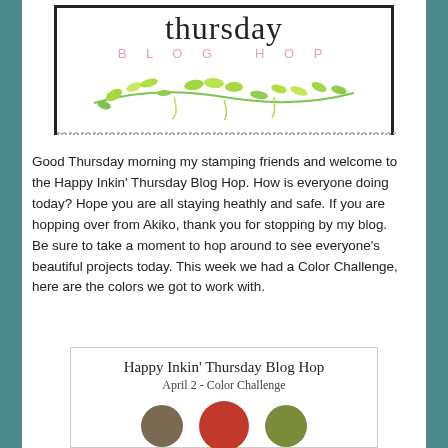[Figure (logo): Thursday Blog Hop logo with cursive 'thursday' text, 'BLOG HOP' in pink spaced letters, and a green botanical branch illustration inside a dashed border box]
Good Thursday morning my stamping friends and welcome to the Happy Inkin' Thursday Blog Hop. How is everyone doing today? Hope you are all staying heathly and safe. If you are hopping over from Akiko, thank you for stopping by my blog. Be sure to take a moment to hop around to see everyone's beautiful projects today. This week we had a Color Challenge, here are the colors we got to work with.
[Figure (infographic): Happy Inkin' Thursday Blog Hop April 2 - Color Challenge card with three color circles: tan/brown, red, and olive green]